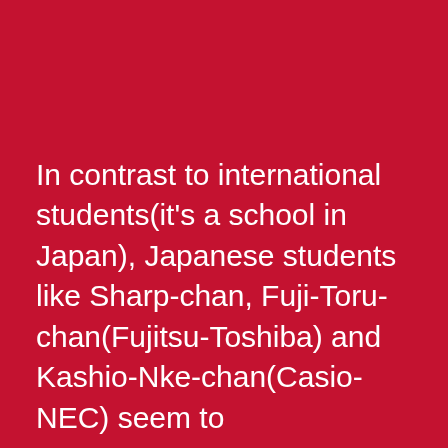In contrast to international students(it's a school in Japan), Japanese students like Sharp-chan, Fuji-Toru-chan(Fujitsu-Toshiba) and Kashio-Nke-chan(Casio-NEC) seem to